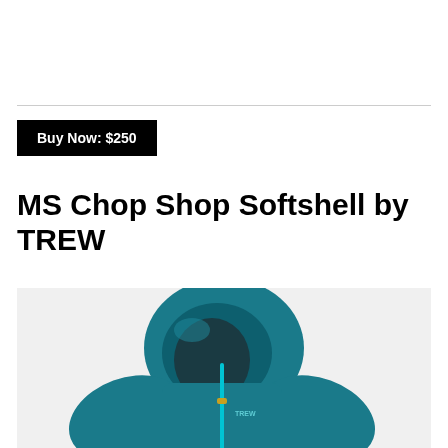Buy Now: $250
MS Chop Shop Softshell by TREW
[Figure (photo): Teal/blue softshell jacket with hood on a model, shown from chest up against a light gray background. The jacket has a bright teal zipper and TREW logo on the chest.]